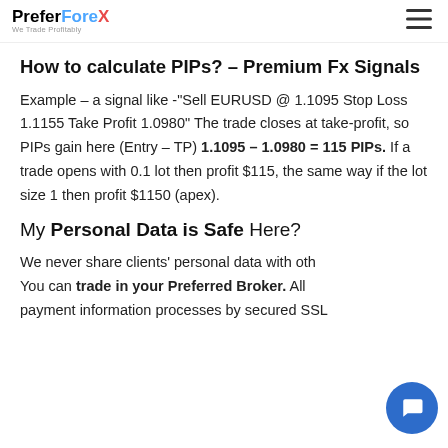PreferForex – We Trade Profitably
How to calculate PIPs? – Premium Fx Signals
Example – a signal like -"Sell EURUSD @ 1.1095 Stop Loss 1.1155 Take Profit 1.0980" The trade closes at take-profit, so PIPs gain here (Entry – TP) 1.1095 – 1.0980 = 115 PIPs. If a trade opens with 0.1 lot then profit $115, the same way if the lot size 1 then profit $1150 (apex).
My Personal Data is Safe Here?
We never share clients' personal data with oth... You can trade in your Preferred Broker. All payment information processes by secured SSL